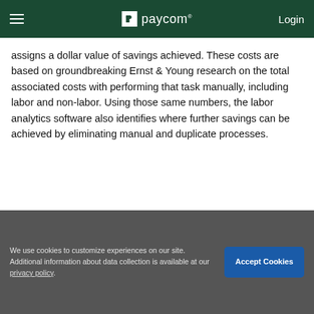Paycom — Login
assigns a dollar value of savings achieved. These costs are based on groundbreaking Ernst & Young research on the total associated costs with performing that task manually, including labor and non-labor. Using those same numbers, the labor analytics software also identifies where further savings can be achieved by eliminating manual and duplicate processes.
More accurate data
We use cookies to customize experiences on our site. Additional information about data collection is available at our privacy policy.